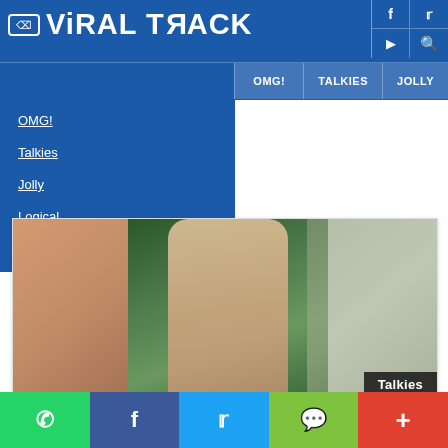ViralTrack
OMG!
Talkies
Jolly
Logical
Videology
[Figure (photo): Woman model posing outdoors with blurred background]
Talkies
This Model Is Getting Popular On The Internet For Her Sexy and Sensuous Look
Social share bar: WhatsApp, Facebook, Twitter, WeChat, More